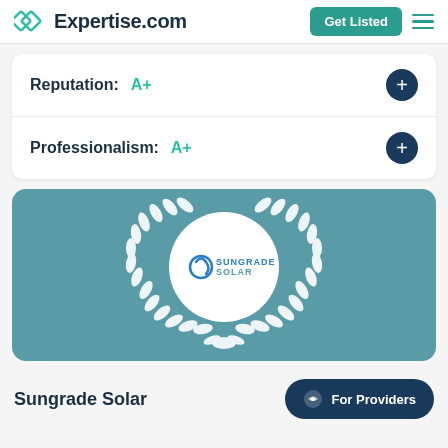Expertise.com
Reputation: A+
Professionalism: A+
[Figure (logo): Sungrade Solar award badge with white laurel wreath on teal background, Sungrade Solar logo in white circle center]
Sungrade Solar
For Providers